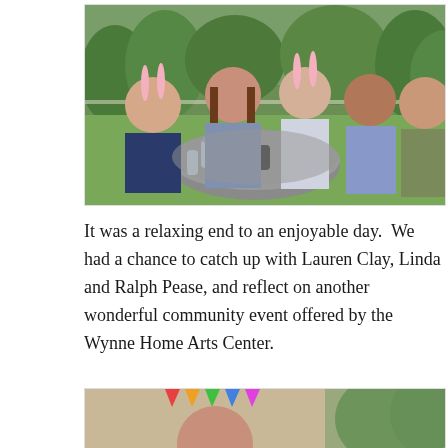[Figure (photo): Five young women sitting around a round outdoor table on a lawn. Two of them are wearing pink bunny ears. There is a camera and water bottles on the table. Green trees and grass are visible in the background.]
It was a relaxing end to an enjoyable day.  We had a chance to catch up with Lauren Clay, Linda and Ralph Pease, and reflect on another wonderful community event offered by the Wynne Home Arts Center.
[Figure (photo): Partial view of a child's head with colorful decorations and trees visible in the background.]